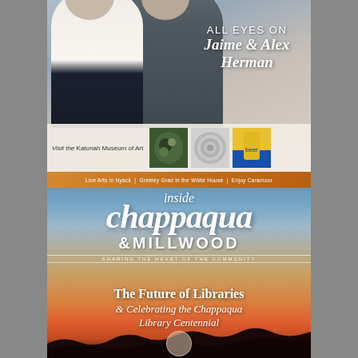[Figure (photo): Top magazine cover showing a couple (Jaime & Alex Herman) with text overlay 'ALL EYES ON Jaime & Alex Herman' and a bottom strip showing 'Visit the Katonah Museum of Art' with three artwork images]
[Figure (photo): Bottom magazine cover for 'inside chappaqua & MILLWOOD' magazine with tagline 'SHARING THE HEART OF THE COMMUNITY', orange header strip reading 'Live Arts in Nyack | Greeley Grad in the White House | Enjoy Caramoor', and headline 'The Future of Libraries & Celebrating the Chappaqua Library Centennial' over a sunset landscape]